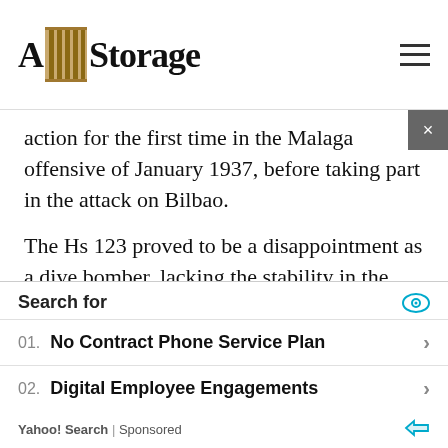A|Storage
action for the first time in the Malaga offensive of January 1937, before taking part in the attack on Bilbao.
The Hs 123 proved to be a disappointment as a dive bomber, lacking the stability in the dive needed to give it the pin-point accuracy required. Oberstleutnant Wolfram Freiherr von Richthofen, the Legion's chief of staff (and a cousin of the Red Baron), decided to use his (now six) Hs 123s as ground
Search for
01. No Contract Phone Service Plan
02. Digital Employee Engagements
Yahoo! Search | Sponsored